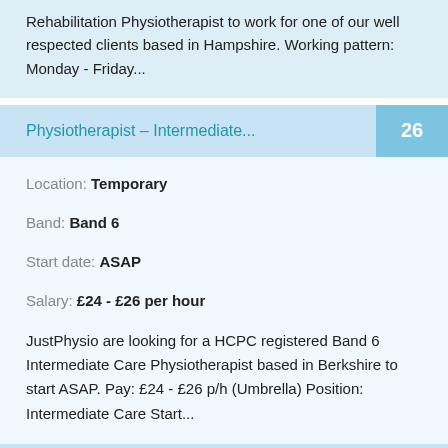Rehabilitation Physiotherapist to work for one of our well respected clients based in Hampshire. Working pattern: Monday - Friday...
Physiotherapist – Intermediate...
26
Location: Temporary
Band: Band 6
Start date: ASAP
Salary: £24 - £26 per hour
JustPhysio are looking for a HCPC registered Band 6 Intermediate Care Physiotherapist based in Berkshire to start ASAP. Pay: £24 - £26 p/h (Umbrella) Position: Intermediate Care Start...